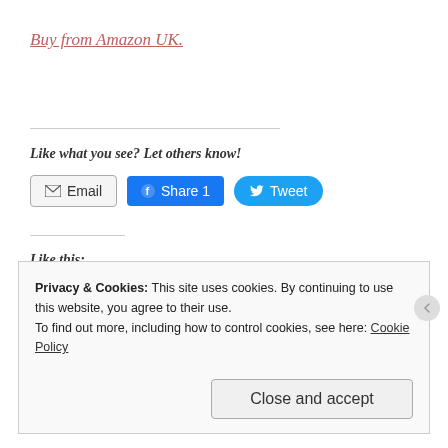Buy from Amazon UK.
Like what you see? Let others know!
[Figure (other): Social share buttons: Email, Share 1 (Facebook), Tweet (Twitter)]
Like this:
Loading...
Privacy & Cookies: This site uses cookies. By continuing to use this website, you agree to their use.
To find out more, including how to control cookies, see here: Cookie Policy
Close and accept